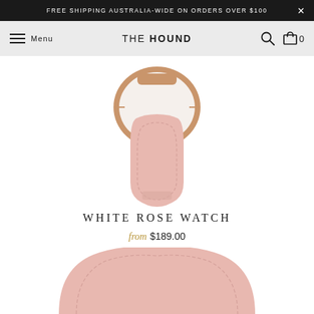FREE SHIPPING AUSTRALIA-WIDE ON ORDERS OVER $100
Menu  THE HOUND  0
[Figure (photo): Top portion of a white and rose gold watch with a pink leather strap, viewed from above. The watch face shows a minimal white dial with rose gold case, and the pink leather strap loop is visible below.]
WHITE ROSE WATCH
from $189.00
[Figure (photo): Bottom portion (partially cropped) of a second pink leather watch strap, showing the curved strap end and stitching detail.]